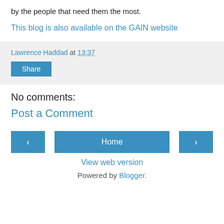by the people that need them the most.
This blog is also available on the GAIN website
Lawrence Haddad at 13:37
Share
No comments:
Post a Comment
‹
Home
›
View web version
Powered by Blogger.